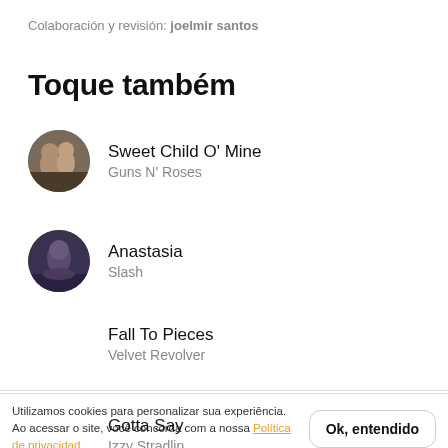Colaboración y revisión: joelmir santos
Toque também
Sweet Child O' Mine — Guns N' Roses
Anastasia — Slash
Fall To Pieces — Velvet Revolver
Utilizamos cookies para personalizar sua experiência. Ao acessar o site, você concorda com a nossa Política de privacidad.
Gotta Say — Izzy Stradlin